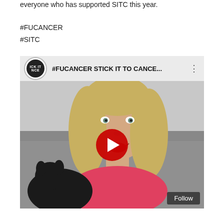everyone who has supported SITC this year.
#FUCANCER
#SITC
[Figure (screenshot): YouTube video thumbnail showing a blonde woman sitting on a grey couch holding a dark-coloured dog, wearing a pink top. The video title reads '#FUCANCER STICK IT TO CANCE...' with a circular logo on the left showing 'ICK IT NCE'. A red YouTube play button is centered on the image. A 'Follow' button appears in the bottom right corner.]